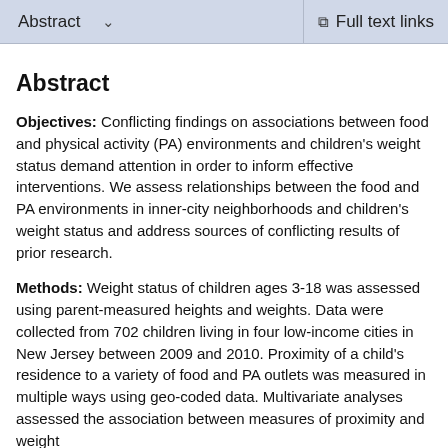Abstract  ∨  Full text links
Abstract
Objectives: Conflicting findings on associations between food and physical activity (PA) environments and children's weight status demand attention in order to inform effective interventions. We assess relationships between the food and PA environments in inner-city neighborhoods and children's weight status and address sources of conflicting results of prior research.
Methods: Weight status of children ages 3-18 was assessed using parent-measured heights and weights. Data were collected from 702 children living in four low-income cities in New Jersey between 2009 and 2010. Proximity of a child's residence to a variety of food and PA outlets was measured in multiple ways using geo-coded data. Multivariate analyses assessed the association between measures of proximity and weight